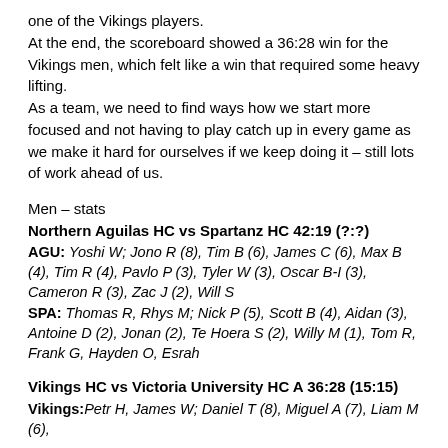one of the Vikings players.
At the end, the scoreboard showed a 36:28 win for the Vikings men, which felt like a win that required some heavy lifting.
As a team, we need to find ways how we start more focused and not having to play catch up in every game as we make it hard for ourselves if we keep doing it – still lots of work ahead of us.
Men – stats
Northern Aguilas HC vs Spartanz HC 42:19 (?:?)
AGU: Yoshi W; Jono R (8), Tim B (6), James C (6), Max B (4), Tim R (4), Pavlo P (3), Tyler W (3), Oscar B-I (3), Cameron R (3), Zac J (2), Will S
SPA: Thomas R, Rhys M; Nick P (5), Scott B (4), Aidan (3), Antoine D (2), Jonan (2), Te Hoera S (2), Willy M (1), Tom R, Frank G, Hayden O, Esrah
Vikings HC vs Victoria University HC A 36:28 (15:15)
Vikings: Petr H, James W; Daniel T (8), Miguel A (7), Liam M (6),